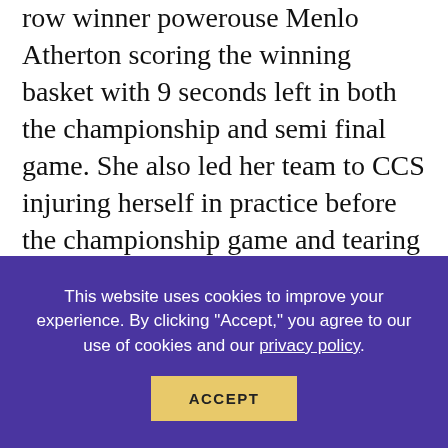row winner powerouse Menlo Atherton scoring the winning basket with 9 seconds left in both the championship and semi final game. She also led her team to CCS injuring herself in practice before the championship game and tearing a ligament in her foot. They won CCS Div 2. She is a three time PAL MVP. She was the player of the week 8 times this year for San Mateo Journal along with athlete of the week for the San Jose Mercury New. She was selected for Norcal TV all star team and today was selected as the co-player of the year for San Mateo Journal. He coach does not use Max Preps by loading stats unfortunately so that is not helpful but she is truely an amazing athlete. She has a full ride scholarship to Cal Baptist who is turning DI as of the 2018 season. On top of that she is humble, kind and a girl a coach can be proud of along with the school.
This website uses cookies to improve your experience. By clicking "Accept," you agree to our use of cookies and our privacy policy.